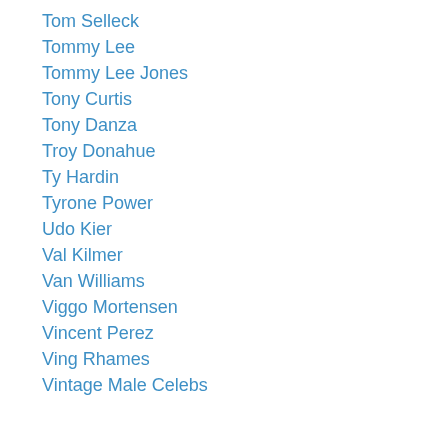Tom Selleck
Tommy Lee
Tommy Lee Jones
Tony Curtis
Tony Danza
Troy Donahue
Ty Hardin
Tyrone Power
Udo Kier
Val Kilmer
Van Williams
Viggo Mortensen
Vincent Perez
Ving Rhames
Vintage Male Celebs